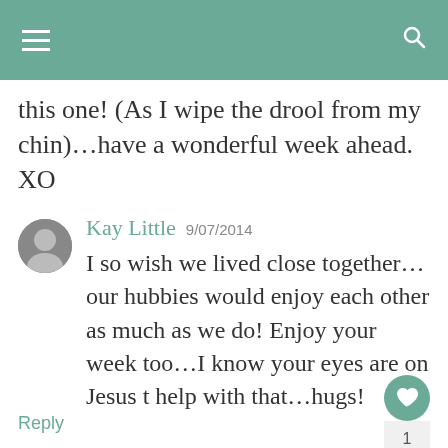this one! (As I wipe the drool from my chin)…have a wonderful week ahead. XO
Kay Little 9/07/2014
I so wish we lived close together…our hubbies would enjoy each other as much as we do! Enjoy your week too…I know your eyes are on Jesus t help with that…hugs!
Reply